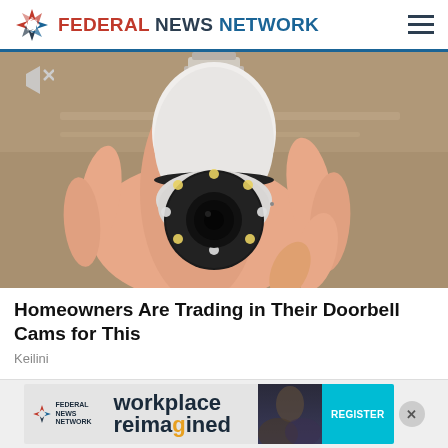FEDERAL NEWS NETWORK
[Figure (photo): A hand holding a white bulb-shaped security camera with a circular lens and LED ring, with a screw-type bulb base at top. The camera is compact and dome-shaped. Background shows wooden surfaces.]
Homeowners Are Trading in Their Doorbell Cams for This
Keilini
[Figure (other): Federal News Network advertisement banner for 'workplace reimagined' event with a REGISTER button in teal.]